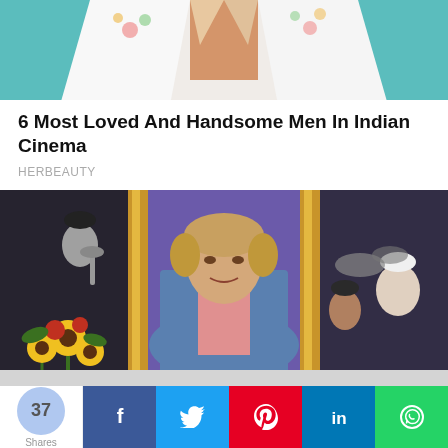[Figure (photo): Partial view of person wearing white floral jacket against teal/blue background, cropped at torso]
6 Most Loved And Handsome Men In Indian Cinema
HERBEAUTY
[Figure (photo): SNL stage scene with man in blue blazer center stage, sunflowers to left, musicians in background, purple backdrop with gold doors]
[Figure (other): Gray advertisement/content placeholder area]
37 Shares
[Figure (infographic): Social share bar with Facebook, Twitter, Pinterest, LinkedIn, WhatsApp buttons]